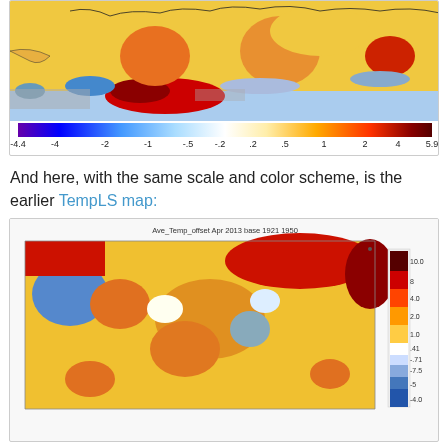[Figure (map): Global temperature anomaly map with color scale from -4.4 to 5.9, showing blues for negative anomalies and reds for positive anomalies, with a color bar at the bottom labeled -4.4, -4, -2, -1, -.5, -.2, .2, .5, 1, 2, 4, 5.9]
And here, with the same scale and color scheme, is the earlier TempLS map:
[Figure (map): TempLS global temperature anomaly map titled 'Ave_Temp_offset Apr 2013 base 1921 1950' with a vertical color legend on the right side showing values from -4.0 to 10.0]